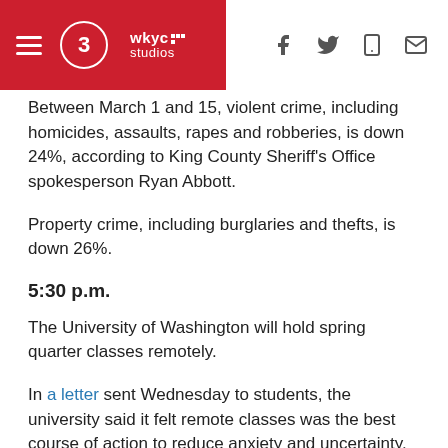WKYC Studios — navigation header with social icons
Between March 1 and 15, violent crime, including homicides, assaults, rapes and robberies, is down 24%, according to King County Sheriff's Office spokesperson Ryan Abbott.
Property crime, including burglaries and thefts, is down 26%.
5:30 p.m.
The University of Washington will hold spring quarter classes remotely.
In a letter sent Wednesday to students, the university said it felt remote classes was the best course of action to reduce anxiety and uncertainty.
The quarter will run from March 30 to June 12.
UW encouraged students who returned home before spring break to study and...